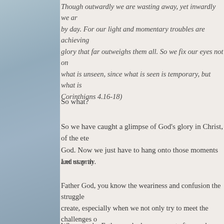Though outwardly we are wasting away, yet inwardly we are being renewed day by day. For our light and momentary troubles are achieving for us an eternal glory that far outweighs them all. So we fix our eyes not on what is seen, but on what is unseen, since what is seen is temporary, but what is unseen is eternal. (2 Corinthians 4.16-18)
So what?
So we have caught a glimpse of God's glory in Christ, of the eternal purpose of God. Now we just have to hang onto those moments and stay there.
Let us pray.
Father God, you know the weariness and confusion the struggles of life create, especially when we not only try to meet the challenges of daily life but when we try to do so as your disciples, servants of your kingdom, heralds of your good news. We are grateful for those moments when you lift our eyes and remind us of your plan, and we hunger even today to witness the transfiguration of Christ in our midst.
When we do, Father, and when we must afterward descend from...